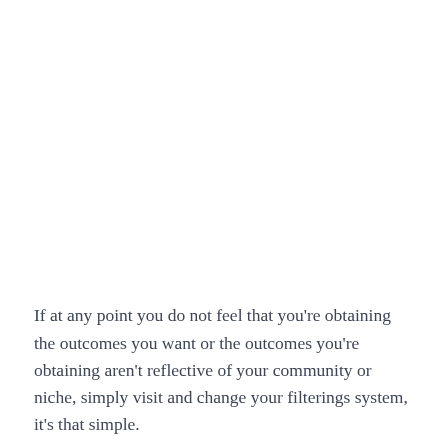If at any point you do not feel that you're obtaining the outcomes you want or the outcomes you're obtaining aren't reflective of your community or niche, simply visit and change your filterings system, it's that simple.